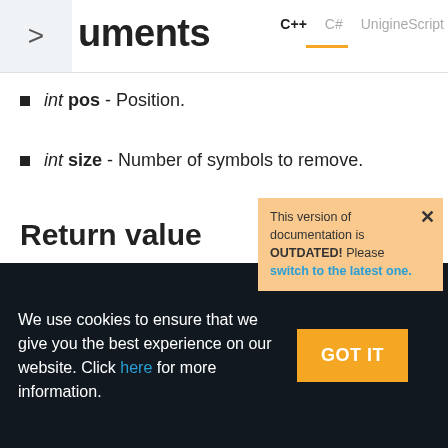uments
int pos - Position.
int size - Number of symbols to remove.
This version of documentation is OUTDATED! Please switch to the latest one.
Return value
Resulting string.
We use cookies to ensure that we give you the best experience on our website. Click here for more information.